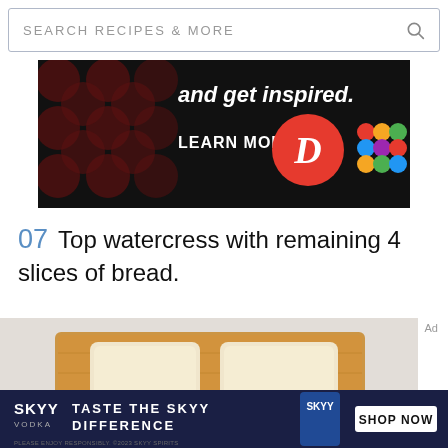[Figure (screenshot): Search bar with text SEARCH RECIPES & MORE and a magnifying glass icon]
[Figure (infographic): Dark advertisement banner with text 'and get inspired.' and 'LEARN MORE' with a D logo and colorful pattern logo]
07 Top watercress with remaining 4 slices of bread.
[Figure (photo): Overhead view of two slices of white bread on a wooden cutting board]
[Figure (infographic): SKYY vodka advertisement with text TASTE THE SKYY DIFFERENCE and SHOP NOW button]